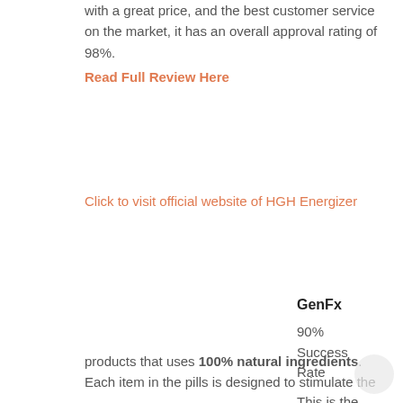with a great price, and the best customer service on the market, it has an overall approval rating of 98%.
Read Full Review Here
Click to visit official website of HGH Energizer
GenFx
90% Success Rate
This is the most powerful HGH products that uses 100% natural ingredients. Each item in the pills is designed to stimulate the